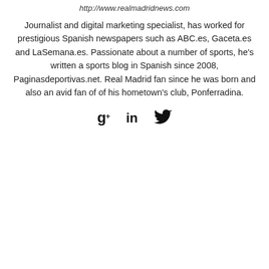http://www.realmadridnews.com
Journalist and digital marketing specialist, has worked for prestigious Spanish newspapers such as ABC.es, Gaceta.es and LaSemana.es. Passionate about a number of sports, he's written a sports blog in Spanish since 2008, Paginasdeportivas.net. Real Madrid fan since he was born and also an avid fan of of his hometown's club, Ponferradina.
[Figure (other): Social media icons: Google+, LinkedIn, Twitter]